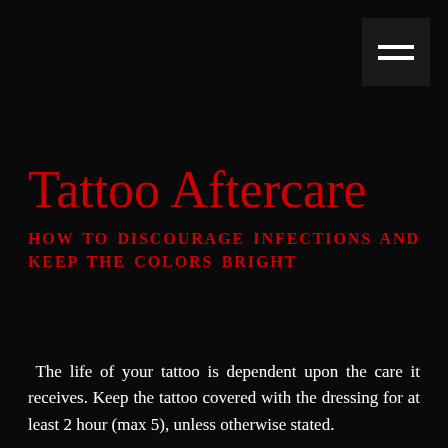Tattoo Aftercare
HOW TO DISCOURAGE INFECTIONS AND KEEP THE COLORS BRIGHT
The life of your tattoo is dependent upon the care it receives. Keep the tattoo covered with the dressing for at least 2 hour (max 5), unless otherwise stated.